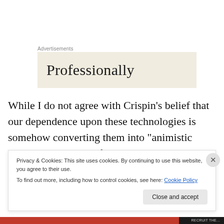Advertisements
[Figure (other): Advertisement box with beige background showing the word 'Professionally' in large serif font]
While I do not agree with Crispin’s belief that our dependence upon these technologies is somehow converting them into “animistic deities brought out of the algorithmic-spirit-world of the machine and into our material world,” I will grant that the data masks remind us
Privacy & Cookies: This site uses cookies. By continuing to use this website, you agree to their use.
To find out more, including how to control cookies, see here: Cookie Policy
Close and accept